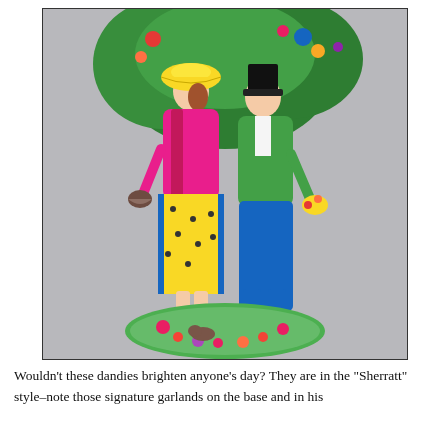[Figure (photo): A colorful ceramic figurine in the Sherratt style depicting a man and woman standing together. The woman wears a yellow bonnet, pink jacket, and yellow floral skirt. The man wears a black top hat, green jacket, and blue trousers. Both stand on a green base decorated with flowers and garlands. Large green bocage foliage rises behind them.]
Wouldn't these dandies brighten anyone's day? They are in the "Sherratt" style–note those signature garlands on the base and in his